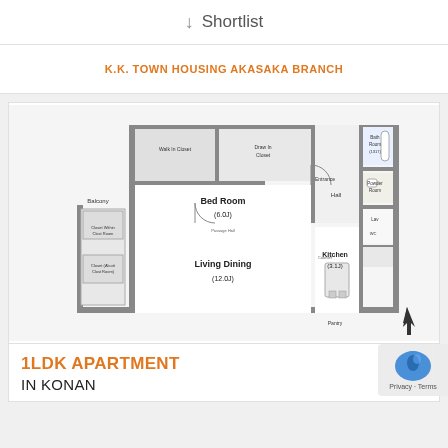↓ Shortlist
K.K. TOWN HOUSING AKASAKA BRANCH
[Figure (engineering-diagram): Floor plan of a 1LDK apartment showing: Bed Room (6.0J), Living Dining (12.0J), Kitchen (3.1J), Bath Room (1317), Powder Room, Hall, Entrance, Balcony, Walk-in Closet, Draw-in Closet, Pantry, Laundry area, compass arrow indicating north.]
1LDK APARTMENT
IN KONAN